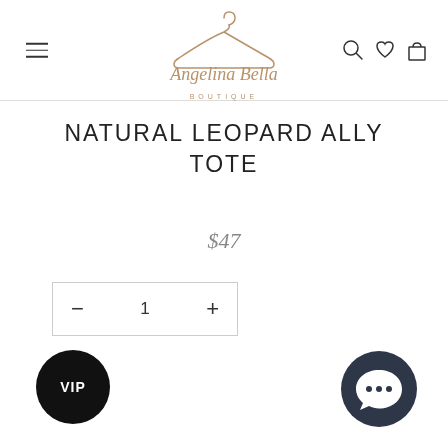[Figure (logo): Angelina Bella Boutique logo with hanger illustration and cursive script text, in rose gold/tan color]
NATURAL LEOPARD ALLY TOTE
$47
[Figure (other): Quantity selector box with minus button, quantity 1, and plus button]
[Figure (other): VIP circular black badge with white text]
[Figure (other): Dark blue circular chat/messenger icon]